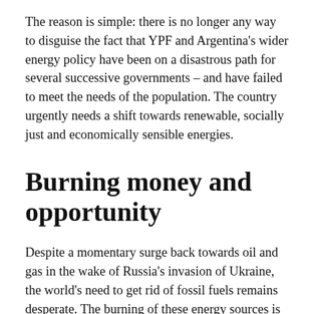The reason is simple: there is no longer any way to disguise the fact that YPF and Argentina's wider energy policy have been on a disastrous path for several successive governments – and have failed to meet the needs of the population. The country urgently needs a shift towards renewable, socially just and economically sensible energies.
Burning money and opportunity
Despite a momentary surge back towards oil and gas in the wake of Russia's invasion of Ukraine, the world's need to get rid of fossil fuels remains desperate. The burning of these energy sources is the main driver of the climate crisis, which is already causing deaths, forced migrations and losses in